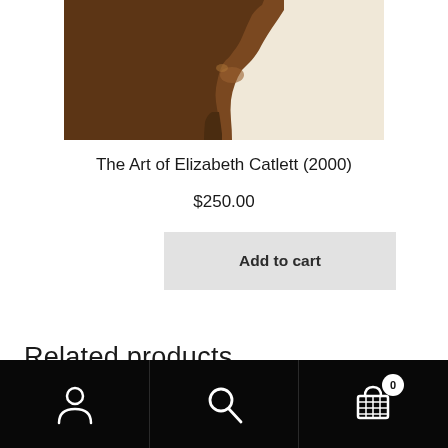[Figure (photo): Close-up photo of a bronze/dark brown sculptural artwork — a profile of a face in relief, with dark warm tones on the left and a cream/beige background on the right. Appears to be a detail from Elizabeth Catlett's artwork.]
The Art of Elizabeth Catlett (2000)
$250.00
Add to cart
Related products
Bottom navigation bar with user icon, search icon, and cart icon with badge showing 0